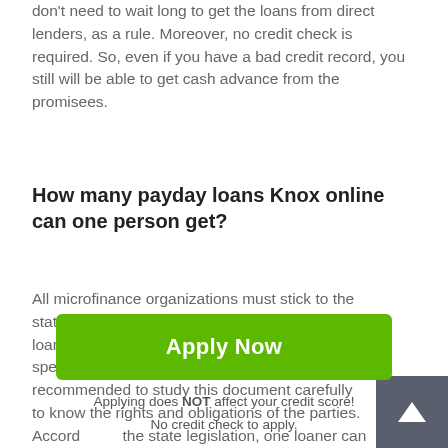don't need to wait long to get the loans from direct lenders, as a rule. Moreover, no credit check is required. So, even if you have a bad credit record, you still will be able to get cash advance from the promisees.
How many payday loans Knox online can one person get?
All microfinance organizations must stick to the state legislation when issuing Knox payday loans online. All terms and conditions are specified in the loan treaty, that's why it's recommended to study this document carefully to know the rights and obligations of the parties. According to the state legislation, one loaner can get only one payday loan. The credit is issued for a specific period within which
Apply Now
Applying does NOT affect your credit score!
No credit check to apply.